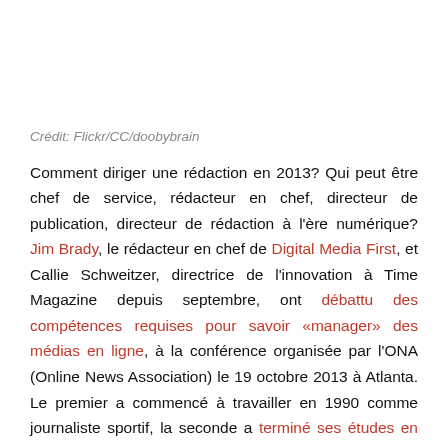Crédit: Flickr/CC/doobybrain
Comment diriger une rédaction en 2013? Qui peut être chef de service, rédacteur en chef, directeur de publication, directeur de rédaction à l'ère numérique? Jim Brady, le rédacteur en chef de Digital Media First, et Callie Schweitzer, directrice de l'innovation à Time Magazine depuis septembre, ont débattu des compétences requises pour savoir «manager» des médias en ligne, à la conférence organisée par l'ONA (Online News Association) le 19 octobre 2013 à Atlanta. Le premier a commencé à travailler en 1990 comme journaliste sportif, la seconde a terminé ses études en 2011. Les deux ont une approche des ressources humaines adaptée à la culture américaine,